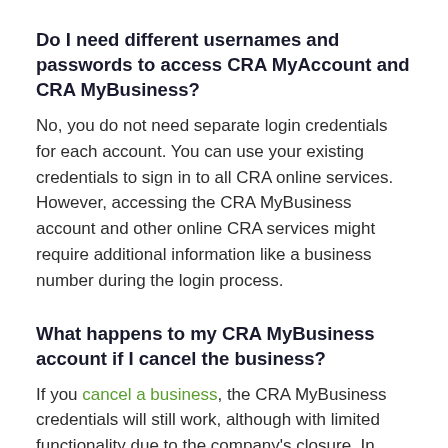Do I need different usernames and passwords to access CRA MyAccount and CRA MyBusiness?
No, you do not need separate login credentials for each account. You can use your existing credentials to sign in to all CRA online services. However, accessing the CRA MyBusiness account and other online CRA services might require additional information like a business number during the login process.
What happens to my CRA MyBusiness account if I cancel the business?
If you cancel a business, the CRA MyBusiness credentials will still work, although with limited functionality due to the company's closure. In most